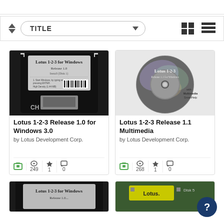TITLE (sort bar with dropdown)
[Figure (screenshot): Lotus 1-2-3 for Windows Release 1.0 floppy disk label]
Lotus 1-2-3 Release 1.0 for Windows 3.0
by Lotus Development Corp.
[Figure (screenshot): Lotus 1-2-3 Release 1.1 Multimedia CD]
Lotus 1-2-3 Release 1.1 Multimedia
by Lotus Development Corp.
[Figure (screenshot): Lotus 1-2-3 for Windows floppy disk (partial, bottom left)]
[Figure (screenshot): Lotus disk (partial, bottom right)]